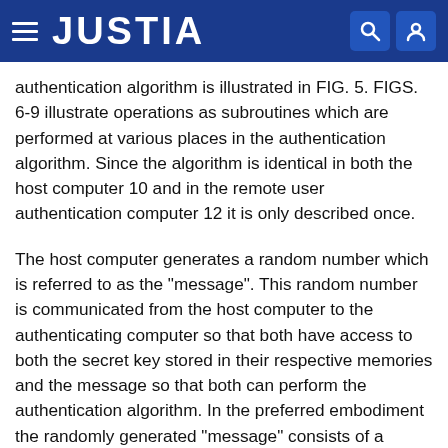JUSTIA
authentication algorithm is illustrated in FIG. 5. FIGS. 6-9 illustrate operations as subroutines which are performed at various places in the authentication algorithm. Since the algorithm is identical in both the host computer 10 and in the remote user authentication computer 12 it is only described once.
The host computer generates a random number which is referred to as the "message". This random number is communicated from the host computer to the authenticating computer so that both have access to both the secret key stored in their respective memories and the message so that both can perform the authentication algorithm. In the preferred embodiment the randomly generated "message" consists of a binary coded decimal having seven decimal digits.
Referring to FIG. 5, a subroutine which incorporates...